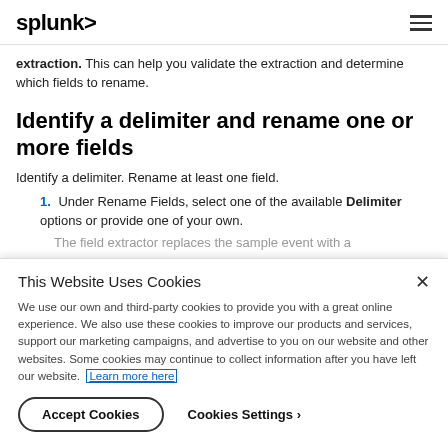splunk> ☰
extraction. This can help you validate the extraction and determine which fields to rename.
Identify a delimiter and rename one or more fields
Identify a delimiter. Rename at least one field.
1. Under Rename Fields, select one of the available Delimiter options or provide one of your own.
The field extractor replaces the sample event with a
This Website Uses Cookies
We use our own and third-party cookies to provide you with a great online experience. We also use these cookies to improve our products and services, support our marketing campaigns, and advertise to you on our website and other websites. Some cookies may continue to collect information after you have left our website. Learn more here
Accept Cookies  Cookies Settings ›